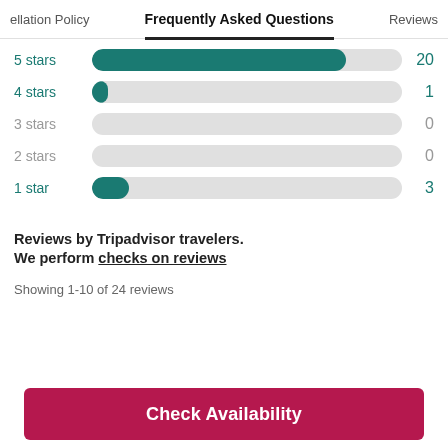ellation Policy   Frequently Asked Questions   Reviews
[Figure (bar-chart): Star ratings distribution]
Reviews by Tripadvisor travelers.
We perform checks on reviews
Showing 1-10 of 24 reviews
Check Availability